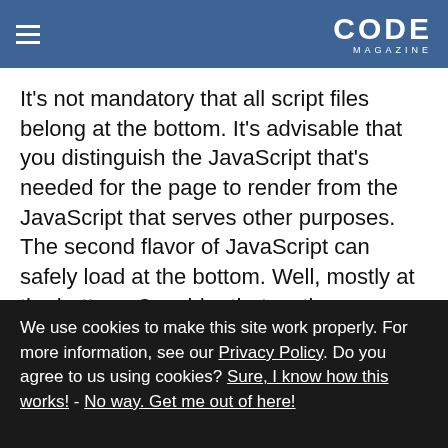CODE MAGAZINE
It's not mandatory that all script files belong at the bottom. It's advisable that you distinguish the JavaScript that's needed for the page to render from the JavaScript that serves other purposes. The second flavor of JavaScript can safely load at the bottom. Well, mostly at the bottom. Consider that as the page renders the user interface in the browser, users may start interacting with it. In doing so, users may trigger events that need some of the other JavaScript placed at the bottom of the page and
We use cookies to make this site work properly. For more information, see our Privacy Policy. Do you agree to us using cookies? Sure, I know how this works! - No way. Get me out of here!